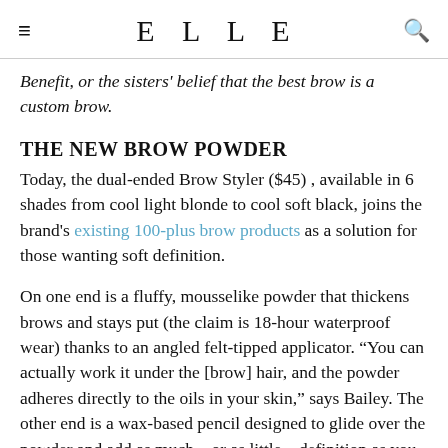ELLE
Benefit, or the sisters' belief that the best brow is a custom brow.
THE NEW BROW POWDER
Today, the dual-ended Brow Styler ($45) , available in 6 shades from cool light blonde to cool soft black, joins the brand's existing 100-plus brow products as a solution for those wanting soft definition.
On one end is a fluffy, mousselike powder that thickens brows and stays put (the claim is 18-hour waterproof wear) thanks to an angled felt-tipped applicator. “You can actually work it under the [brow] hair, and the powder adheres directly to the oils in your skin,” says Bailey. The other end is a wax-based pencil designed to glide over the powder and add as much – or as little – definition as you